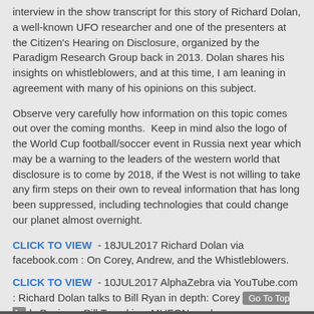interview in the show transcript for this story of Richard Dolan, a well-known UFO researcher and one of the presenters at the Citizen's Hearing on Disclosure, organized by the Paradigm Research Group back in 2013. Dolan shares his insights on whistleblowers, and at this time, I am leaning in agreement with many of his opinions on this subject.
Observe very carefully how information on this topic comes out over the coming months.  Keep in mind also the logo of the World Cup football/soccer event in Russia next year which may be a warning to the leaders of the western world that disclosure is to come by 2018, if the West is not willing to take any firm steps on their own to reveal information that has long been suppressed, including technologies that could change our planet almost overnight.
CLICK TO VIEW - 18JUL2017 Richard Dolan via facebook.com : On Corey, Andrew, and the Whistleblowers.
CLICK TO VIEW - 10JUL2017 AlphaZebra via YouTube.com : Richard Dolan talks to Bill Ryan in depth: Corey Goode, Andrew Basiago, Bill Tompkins, MUFON, and more.